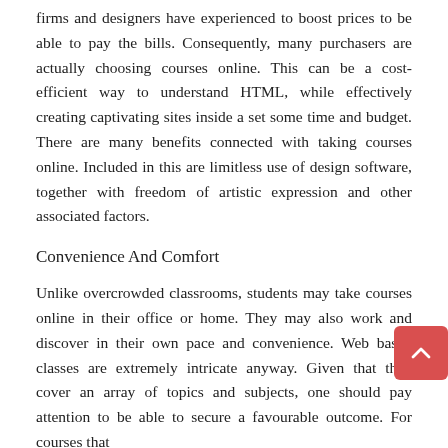firms and designers have experienced to boost prices to be able to pay the bills. Consequently, many purchasers are actually choosing courses online. This can be a cost-efficient way to understand HTML, while effectively creating captivating sites inside a set some time and budget. There are many benefits connected with taking courses online. Included in this are limitless use of design software, together with freedom of artistic expression and other associated factors.
Convenience And Comfort
Unlike overcrowded classrooms, students may take courses online in their office or home. They may also work and discover in their own pace and convenience. Web based classes are extremely intricate anyway. Given that they cover an array of topics and subjects, one should pay attention to be able to secure a favourable outcome. For courses that